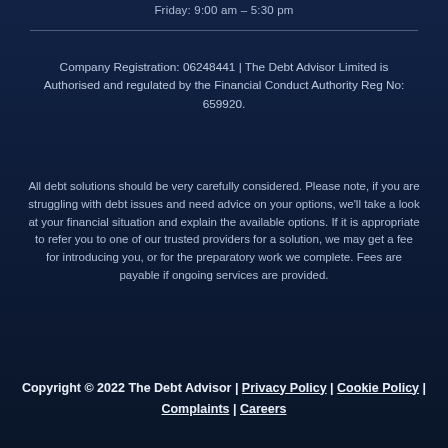Friday: 9:00 am – 5:30 pm
Company Registration: 06248441 | The Debt Advisor Limited is Authorised and regulated by the Financial Conduct Authority Reg No: 659920.
All debt solutions should be very carefully considered. Please note, if you are struggling with debt issues and need advice on your options, we'll take a look at your financial situation and explain the available options. If it is appropriate to refer you to one of our trusted providers for a solution, we may get a fee for introducing you, or for the preparatory work we complete. Fees are payable if ongoing services are provided.
Copyright © 2022  The Debt Advisor | Privacy Policy | Cookie Policy | Complaints | Careers